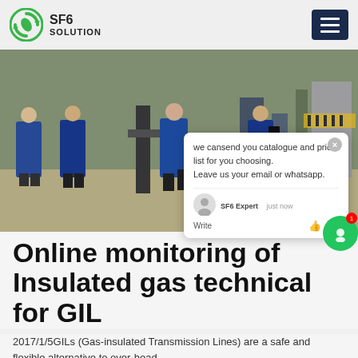SF6 SOLUTION
[Figure (photo): Workers in blue coveralls at an industrial outdoor site with gas insulated equipment.]
we cansend you catalogue and price list for you choosing. Leave us your email or whatsapp.
Online monitoring of Insulated gas technical for GIL
2017/1/5GILs (Gas-insulated Transmission Lines) are a safe and flexible alternative to over-head